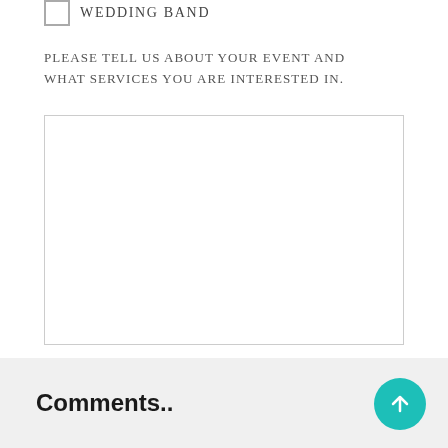WEDDING BAND
PLEASE TELL US ABOUT YOUR EVENT AND WHAT SERVICES YOU ARE INTERESTED IN.
[Figure (other): Empty text area input box with light grey border]
[Figure (other): Teal/mint colored Send button with rounded corners]
Comments..
[Figure (other): Teal circular button with upward arrow icon]